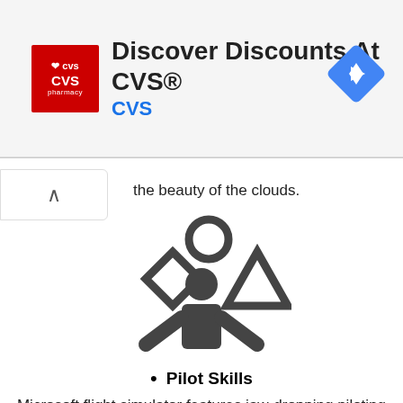[Figure (other): CVS Pharmacy advertisement banner with red CVS logo, text 'Discover Discounts At CVS®' and blue 'CVS' subtitle, and a blue navigation arrow diamond icon on the right]
the beauty of the clouds.
[Figure (illustration): Dark grey icon of a person juggling shapes: a diamond/rhombus on the left, a circle on top, and a triangle on the right]
Pilot Skills
Microsoft flight simulator features jaw-dropping piloting skills which will help the players to earn their wings. It will boost the confidence of the gamer and in turn, makes the game enjoyable. Pilot skills are developed with the help of